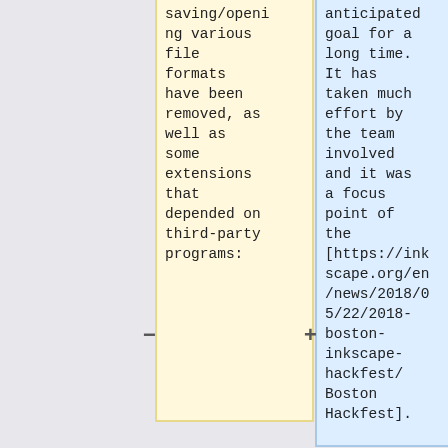saving/opening various file formats have been removed, as well as some extensions that depended on third-party programs:
anticipated goal for a long time. It has taken much effort by the team involved and it was a focus point of the [https://inkscape.org/en/news/2018/05/22/2018-boston-inkscape-hackfest/ Boston Hackfest].